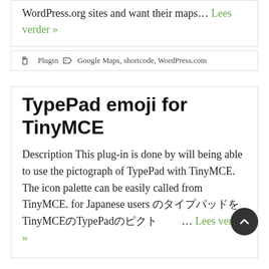WordPress.org sites and want their maps... Lees verder »
Plugin  Google Maps, shortcode, WordPress.com
TypePad emoji for TinyMCE
Description This plug-in is done by will being able to use the pictograph of TypePad with TinyMCE. The icon palette can be easily called from TinyMCE. for Japanese users のタイプパッドをTinyMCEのTypePadのピクト ... Lees verder »
Plugin  icons, posts, tinyMCE
Strategery Migrations